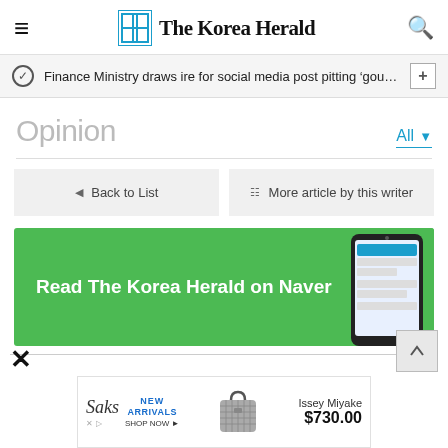The Korea Herald
Finance Ministry draws ire for social media post pitting 'gourmet …
Opinion
All
◄ Back to List
≡ More article by this writer
[Figure (other): Green banner advertisement: 'Read The Korea Herald on Naver' with a smartphone image on the right]
[Figure (other): Saks New Arrivals advertisement featuring Issey Miyake handbag priced at $730.00]